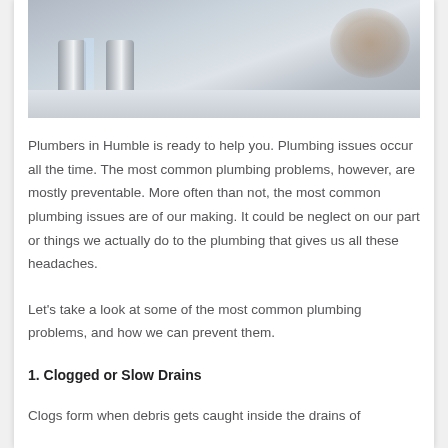[Figure (photo): Photo of a bathroom sink with chrome faucets running water, shot from above]
Plumbers in Humble is ready to help you. Plumbing issues occur all the time. The most common plumbing problems, however, are mostly preventable. More often than not, the most common plumbing issues are of our making. It could be neglect on our part or things we actually do to the plumbing that gives us all these headaches.
Let's take a look at some of the most common plumbing problems, and how we can prevent them.
1. Clogged or Slow Drains
Clogs form when debris gets caught inside the drains of